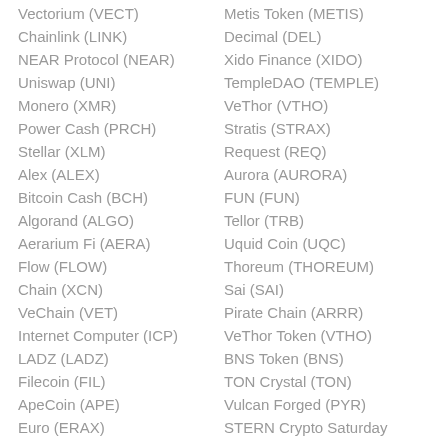Vectorium (VECT)
Chainlink (LINK)
NEAR Protocol (NEAR)
Uniswap (UNI)
Monero (XMR)
Power Cash (PRCH)
Stellar (XLM)
Alex (ALEX)
Bitcoin Cash (BCH)
Algorand (ALGO)
Aerarium Fi (AERA)
Flow (FLOW)
Chain (XCN)
VeChain (VET)
Internet Computer (ICP)
LADZ (LADZ)
Filecoin (FIL)
ApeCoin (APE)
Euro (ERAX)
Metis Token (METIS)
Decimal (DEL)
Xido Finance (XIDO)
TempleDAO (TEMPLE)
VeThor (VTHO)
Stratis (STRAX)
Request (REQ)
Aurora (AURORA)
FUN (FUN)
Tellor (TRB)
Uquid Coin (UQC)
Thoreum (THOREUM)
Sai (SAI)
Pirate Chain (ARRR)
VeThor Token (VTHO)
BNS Token (BNS)
TON Crystal (TON)
Vulcan Forged (PYR)
STERN Crypto Saturday